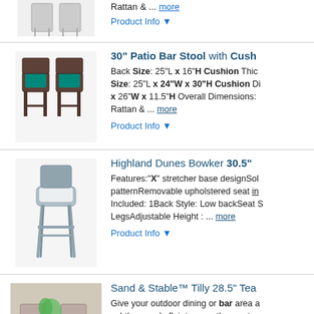[Figure (photo): Partial product listing - bar stools image cropped at top]
Rattan & ... more
Product Info ▼
[Figure (photo): 30 inch Patio Bar Stool with cushion - two dark wicker stools with teal cushions]
30" Patio Bar Stool with Cush
Back Size: 25"L x 16"H Cushion Thickness Size: 25"L x 24"W x 30"H Cushion Di x 26"W x 11.5"H Overall Dimensions: Rattan & ... more
Product Info ▼
[Figure (photo): Highland Dunes Bowker 30.5 inch bar stool - light gray woven stool]
Highland Dunes Bowker 30.5"
Features:"X" stretcher base designSolid patternRemovable upholstered seat in Included: 1Back Style: Low backSeat S LegsAdjustable Height : ... more
Product Info ▼
[Figure (photo): Sand & Stable Tilly 28.5 inch teak bar stools - two natural wood stools on blue patterned rug]
Sand & Stable™ Tilly 28.5" Tea
Give your outdoor dining or bar area a subtly upscale flair to even the most ur wood and topped with cozy water-resi ... more
Product Info ▼
[Figure (photo): Beachcrest Home Poe Teak bar stool - partial image at bottom]
Beachcrest Home™ Poe Teak
This woven outdoor barstool will add a patio. Constructed with an aluminum f only sturdy but durable for outdoor us